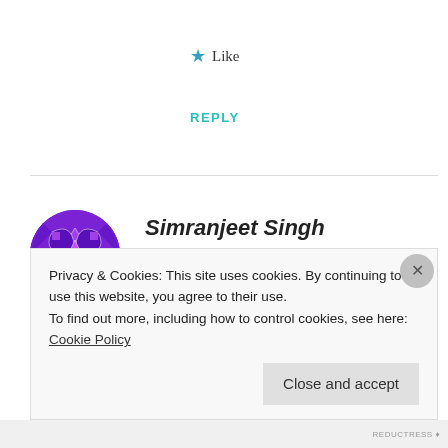★ Like
REPLY
[Figure (illustration): Purple geometric mandala/avatar icon for user Simranjeet Singh]
Simranjeet Singh
MARCH 7, 2018 AT 11:31 AM
Hey, everyone lets make this program really very very interesting all together
Privacy & Cookies: This site uses cookies. By continuing to use this website, you agree to their use.
To find out more, including how to control cookies, see here: Cookie Policy
Close and accept